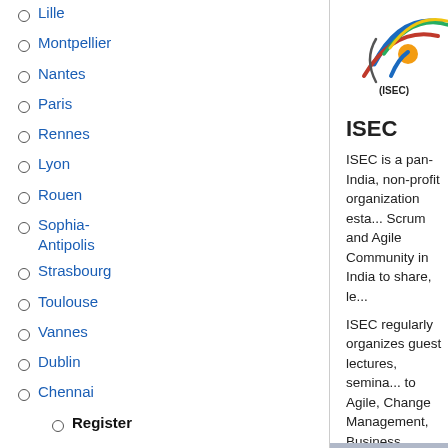Lille
Montpellier
Nantes
Paris
Rennes
Lyon
Rouen
Sophia-Antipolis
Strasbourg
Toulouse
Vannes
Dublin
Chennai
Register
Delhi-NCR
Hyderabad
Pune
Osaka
Riga
Beirut
Kaunas
Vilnius
[Figure (logo): ISEC - India Scrum Enthusiasts Community logo with colorful curved stripes and figures]
ISEC
ISEC is a pan-India, non-profit organization esta... Scrum and Agile Community in India to share, le...
ISEC regularly organizes guest lectures, semina... to Agile, Change Management, Business Proce...
-->